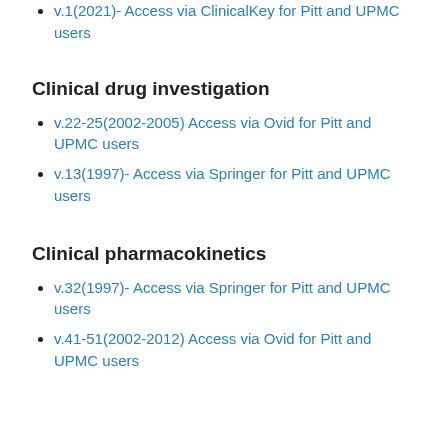v.1(2021)- Access via ClinicalKey for Pitt and UPMC users
Clinical drug investigation
v.22-25(2002-2005) Access via Ovid for Pitt and UPMC users
v.13(1997)- Access via Springer for Pitt and UPMC users
Clinical pharmacokinetics
v.32(1997)- Access via Springer for Pitt and UPMC users
v.41-51(2002-2012) Access via Ovid for Pitt and UPMC users